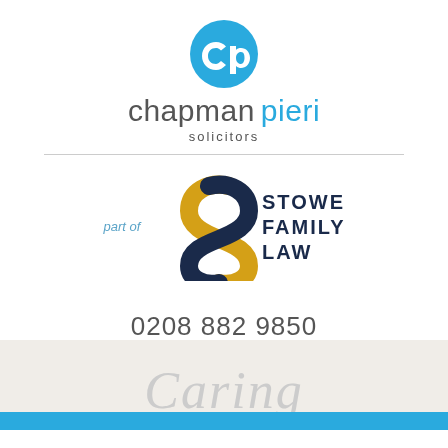[Figure (logo): Chapman Pieri Solicitors logo — blue circular CP icon above the words 'chapman pieri solicitors']
[Figure (logo): Stowe Family Law logo — stylized S in navy and gold, with 'STOWE FAMILY LAW' text in navy, preceded by 'part of' in light blue italic]
0208 882 9850
Caring